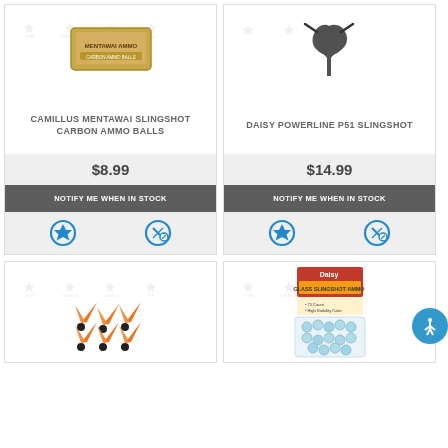[Figure (photo): Camillus Mentawai Slingshot Carbon Ammo Balls product image with gold packaging]
CAMILLUS MENTAWAI SLINGSHOT CARBON AMMO BALLS
$8.99
NOTIFY ME WHEN IN STOCK
[Figure (photo): Daisy Powerline P51 Slingshot product image showing black slingshot silhouette]
DAISY POWERLINE P51 SLINGSHOT
$14.99
NOTIFY ME WHEN IN STOCK
[Figure (photo): Orange arrow/fin shaped slingshot ammo product]
[Figure (photo): Daisy Glass Slingshot Ammo package with blue/teal glass balls]